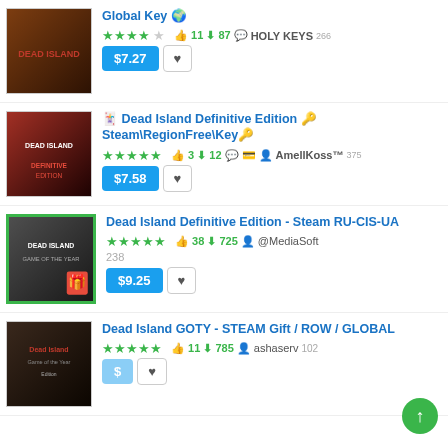Global Key 🌍 — $7.27, 11 likes, 87 downloads, HOLY KEYS 266
🃏 Dead Island Definitive Edition 🔑Steam\RegionFree\Key🔑 — $7.58, 3 likes, 12 downloads, AmellKoss™ 375
Dead Island Definitive Edition - Steam RU-CIS-UA — $9.25, 38 likes, 725 downloads, @MediaSoft 238
Dead Island GOTY - STEAM Gift / ROW / GLOBAL — 11 likes, 785 downloads, ashaserv 102